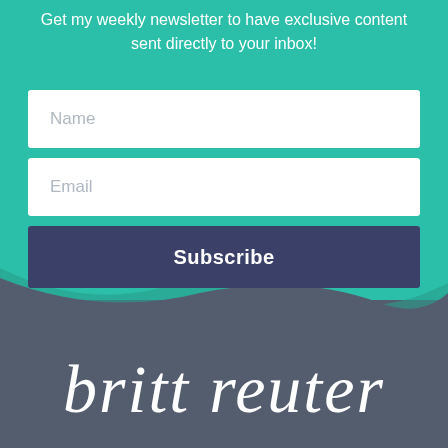Get my weekly newsletter to have exclusive content sent directly to your inbox!
[Figure (screenshot): Newsletter signup form with Name field, Email field, and Subscribe button on teal background]
[Figure (logo): Britt Reuter script logo in white on dark grey background]